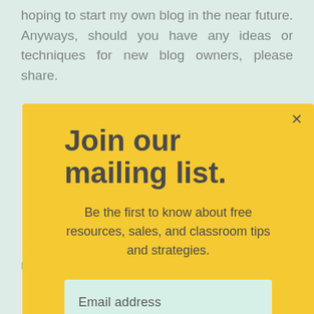hoping to start my own blog in the near future. Anyways, should you have any ideas or techniques for new blog owners, please share.
Join our mailing list.
Be the first to know about free resources, sales, and classroom tips and strategies.
Email address
Subscribe
★★★★★
REPLY